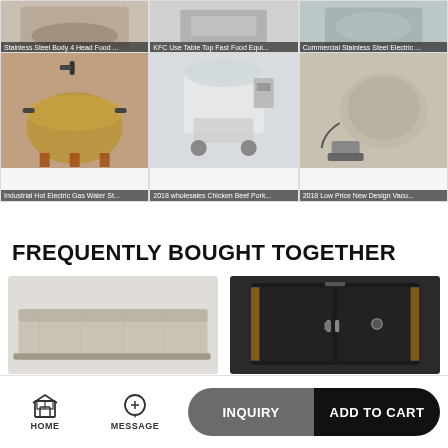[Figure (photo): Top row of product grid (partially cut off): Stainless Steel Body 4 Head Food..., KFC Use Table Top Fast Food Equi..., Commercial Stainless Steel Electric...]
[Figure (photo): Second row product grid left: Industrial Hot Electric Gas Water St... - round industrial steamer/pot]
[Figure (photo): Second row product grid middle: 2018 wholesales Chicken Beef Pork... - white meat mixing machine on wheels]
[Figure (photo): Second row product grid right: 2018 Low Price New Design Vacu... - stainless steel drum/tumbler machine]
FREQUENTLY BOUGHT TOGETHER
[Figure (photo): Frequently bought together item left: flat stone/granite grill surface]
[Figure (photo): Frequently bought together item right: black smoker/BBQ cabinet with wood panels]
HOME | MESSAGE | INQUIRY | ADD TO CART